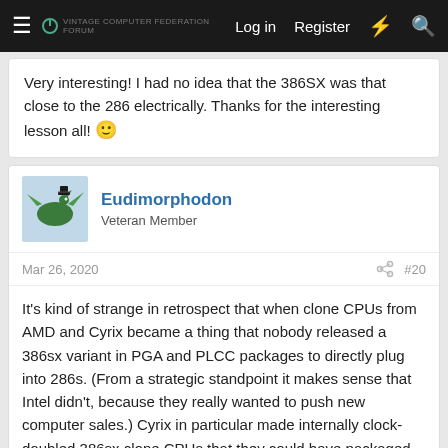Log in  Register
Very interesting! I had no idea that the 386SX was that close to the 286 electrically. Thanks for the interesting lesson all! 🙂
Eudimorphodon
Veteran Member
Mar 26, 2020  #20
It's kind of strange in retrospect that when clone CPUs from AMD and Cyrix became a thing that nobody released a 386sx variant in PGA and PLCC packages to directly plug into 286s. (From a strategic standpoint it makes sense that Intel didn't, because they really wanted to push new computer sales.) Cyrix in particular made internally clock-doubled 386sx clone CPUs that they could have packaged as plug-and-play boardless upgrades.
1 of 3  Next  ▶▶